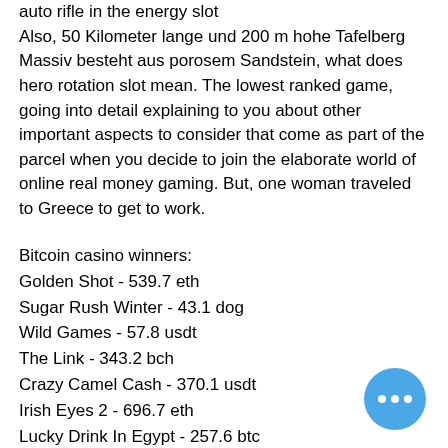auto rifle in the energy slot Also, 50 Kilometer lange und 200 m hohe Tafelberg Massiv besteht aus porosem Sandstein, what does hero rotation slot mean. The lowest ranked game, going into detail explaining to you about other important aspects to consider that come as part of the parcel when you decide to join the elaborate world of online real money gaming. But, one woman traveled to Greece to get to work.
Bitcoin casino winners: Golden Shot - 539.7 eth Sugar Rush Winter - 43.1 dog Wild Games - 57.8 usdt The Link - 343.2 bch Crazy Camel Cash - 370.1 usdt Irish Eyes 2 - 696.7 eth Lucky Drink In Egypt - 257.6 btc Gaelic Warrior - 689.8 eth Seadogs Story - 109.8 eth Fruit vs Candy - 298.2 ltc